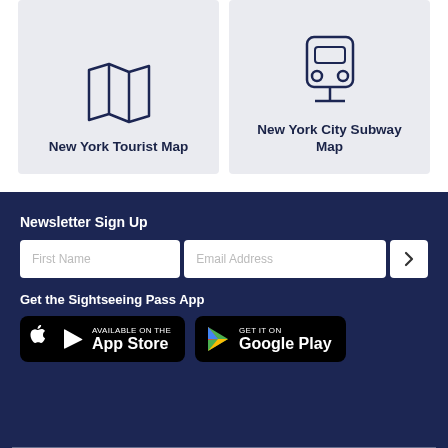[Figure (illustration): Card with map/folded-map icon and label 'New York Tourist Map' on light gray background]
[Figure (illustration): Card with subway/train icon and label 'New York City Subway Map' on light gray background]
Newsletter Sign Up
First Name | Email Address | > (submit button)
Get the Sightseeing Pass App
[Figure (logo): App Store badge: Available on the App Store]
[Figure (logo): Google Play badge: Get it on Google Play]